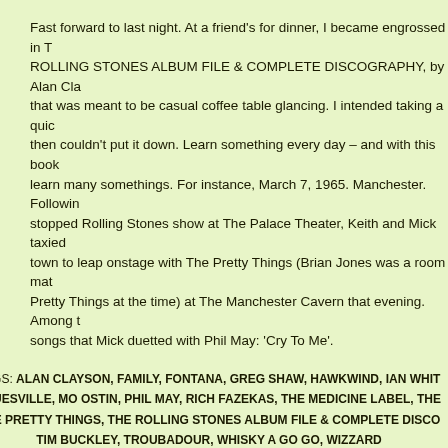Fast forward to last night. At a friend's for dinner, I became engrossed in THE ROLLING STONES ALBUM FILE & COMPLETE DISCOGRAPHY, by Alan Clayson that was meant to be casual coffee table glancing. I intended taking a quick look then couldn't put it down. Learn something every day – and with this book you learn many somethings. For instance, March 7, 1965. Manchester. Following a sold-stopped Rolling Stones show at The Palace Theater, Keith and Mick taxied across town to leap onstage with The Pretty Things (Brian Jones was a room mate of Pretty Things at the time) at The Manchester Cavern that evening. Among the songs that Mick duetted with Phil May: 'Cry To Me'.
TAGS: ALAN CLAYSON, FAMILY, FONTANA, GREG SHAW, HAWKWIND, IAN WHITE, BLUESVILLE, MO OSTIN, PHIL MAY, RICH FAZEKAS, THE MEDICINE LABEL, THE MOVE, THE PRETTY THINGS, THE ROLLING STONES ALBUM FILE & COMPLETE DISCOGRAPHY, TIM BUCKLEY, TROUBADOUR, WHISKY A GO GO, WIZZARD POSTED IN ALAN CLAYSON, FONTANA, GREG SHAW, HAWKWIND, PHIL MAY, RICH FAZEKAS, THE MOVE, THE PRETTY THINGS, THE ROLLING STONES ALBUM FILE & COMPLETE DISCOGRAPHY, TIM BUCKLEY, TROUBADOUR, UNITED ARTISTS, WHISKY A GO GO, WIZZARD | NO COMMENTS »